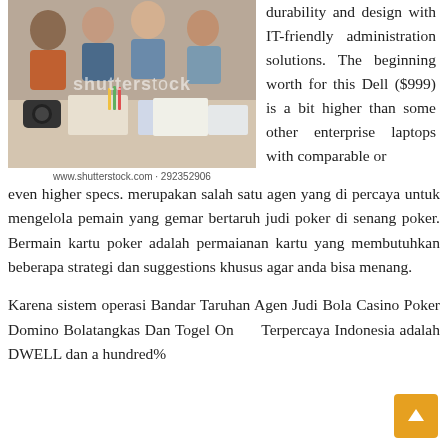[Figure (photo): Stock photo of a group of people around a table with design materials, a camera, colored pencils, and papers. Shutterstock watermark visible. Caption: www.shutterstock.com · 292352906]
www.shutterstock.com · 292352906
durability and design with IT-friendly administration solutions. The beginning worth for this Dell ($999) is a bit higher than some other enterprise laptops with comparable or even higher specs. merupakan salah satu agen yang di percaya untuk mengelola pemain yang gemar bertaruh judi poker di senang poker. Bermain kartu poker adalah permaianan kartu yang membutuhkan beberapa strategi dan suggestions khusus agar anda bisa menang.
Karena sistem operasi Bandar Taruhan Agen Judi Bola Casino Poker Domino Bolatangkas Dan Togel Online Terpercaya Indonesia adalah DWELL dan a hundred%